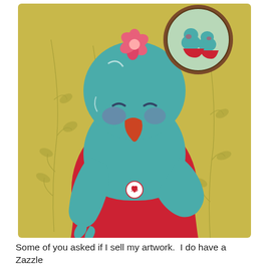[Figure (illustration): Whimsical watercolor illustration of a teal anthropomorphic bird wearing a red dress and a pink flower on its head. The bird has closed eyes, rosy purple cheeks, and an orange beak. It holds a small heart-shaped tag reading 'XO' against its chest with one hand. In the upper right corner is a circular framed miniature illustration showing two small teal birds. The background is olive/yellow-green with painted leaf-vine motifs.]
Some of you asked if I sell my artwork.  I do have a Zazzle